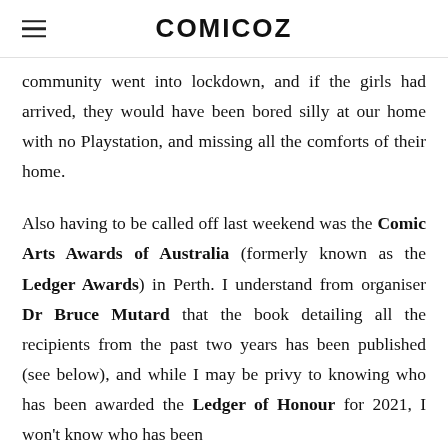COMICOZ
community went into lockdown, and if the girls had arrived, they would have been bored silly at our home with no Playstation, and missing all the comforts of their home.
Also having to be called off last weekend was the Comic Arts Awards of Australia (formerly known as the Ledger Awards) in Perth. I understand from organiser Dr Bruce Mutard that the book detailing all the recipients from the past two years has been published (see below), and while I may be privy to knowing who has been awarded the Ledger of Honour for 2021, I won't know who has been